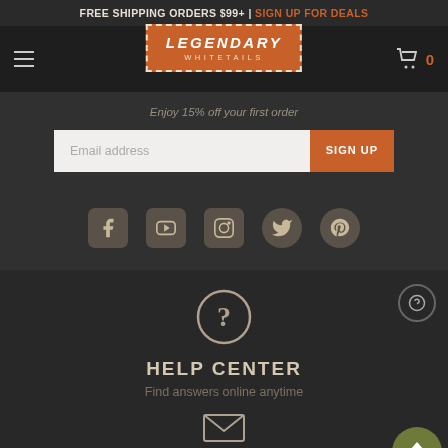FREE SHIPPING ORDERS $99+ | SIGN UP FOR DEALS
[Figure (logo): Legendary Whitetails logo in orange box with dashed border]
Enjoy 15% off your first order
Email address | SIGN UP
[Figure (infographic): Social media icons: Facebook, YouTube, Instagram, Twitter, Pinterest]
[Figure (infographic): Help Center icon (question mark in circle)]
HELP CENTER
Find answers online anytime